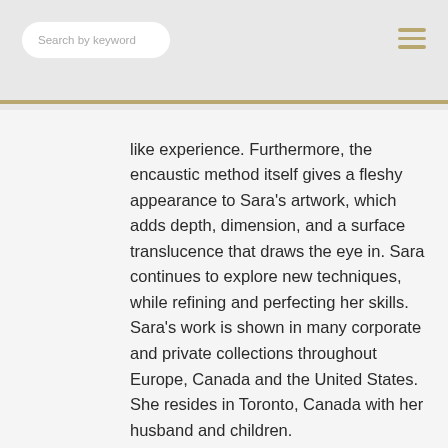Search by keyword
like experience. Furthermore, the encaustic method itself gives a fleshy appearance to Sara’s artwork, which adds depth, dimension, and a surface translucence that draws the eye in. Sara continues to explore new techniques, while refining and perfecting her skills. Sara's work is shown in many corporate and private collections throughout Europe, Canada and the United States. She resides in Toronto, Canada with her husband and children.